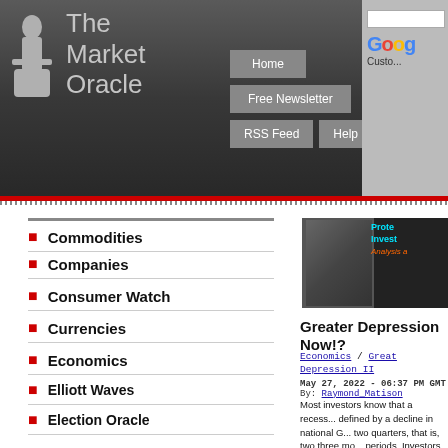The Market Oracle
Commodities
Companies
Consumer Watch
Currencies
Economics
Elliott Waves
Election Oracle
Housing Markets
Interest Rates
Investor Education
Market Oracle TV
Mega-Trend Forecasts
[Figure (photo): Article banner image with woman and text overlay reading 'Protecting Investments - Analysis and...']
Greater Depression Now!?
Economics / Great Depression II
May 27, 2022 - 06:37 PM GMT
By: Raymond_Matison
Most investors know that a recession is defined by a decline in national G... two quarters, that is, two three mo... periods. Investors also have experienced economic pundits wr... announcing that "we may experie... recession in the next several qu...